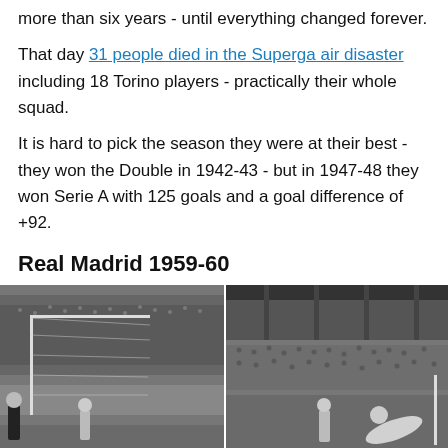more than six years - until everything changed forever.
That day 31 people died in the Superga air disaster including 18 Torino players - practically their whole squad.
It is hard to pick the season they were at their best - they won the Double in 1942-43 - but in 1947-48 they won Serie A with 125 goals and a goal difference of +92.
Real Madrid 1959-60
[Figure (photo): Black and white photograph of a football match, split into two panels showing stadium scenes with players and a large crowd in the stands.]